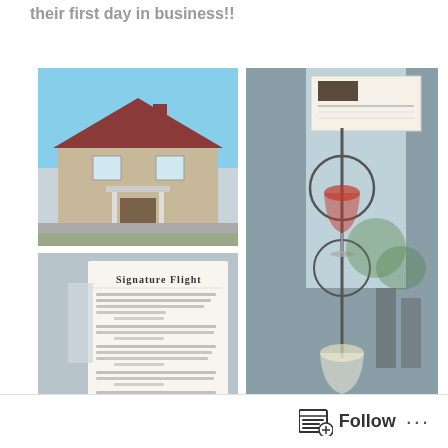their first day in business!!
[Figure (photo): Exterior photo of a historic stone building with red roof on a sunny day]
[Figure (photo): Interior of a wine bar with wine glasses on a metal stand near a window with natural light]
[Figure (photo): Signature Flight menu card with handwritten-style text listing wine flight options]
Follow ...